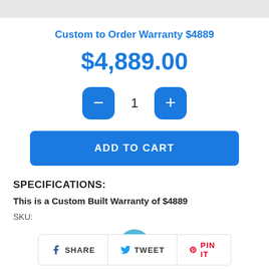Custom to Order Warranty $4889
$4,889.00
ADD TO CART
SPECIFICATIONS:
This is a Custom Built Warranty of $4889
SKU:
SHARE   TWEET   PIN IT